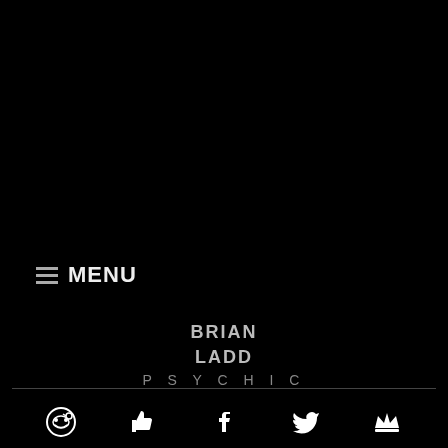≡ MENU
BRIAN LADD PSYCHIC
[Figure (other): Social media icons row: Reddit, thumbs-up/Facebook Like, Facebook, Twitter, crown/Product Hunt]